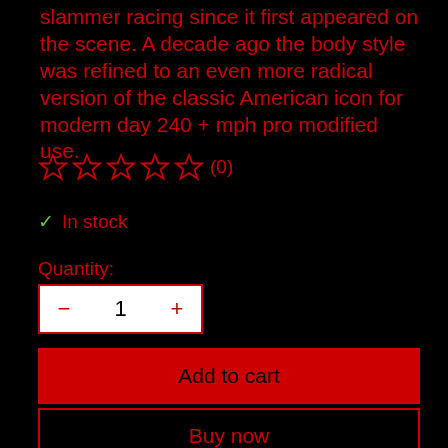slammer racing since it first appeared on the scene. A decade ago the body style was refined to an even more radical version of the classic American icon for modern day 240 + mph pro modified use.
[Figure (other): Five empty star rating icons followed by (0) review count]
✓ In stock
Quantity:
[Figure (other): Quantity selector control showing minus button, 1, plus button]
Add to cart
Buy now
⇄ Add to compare